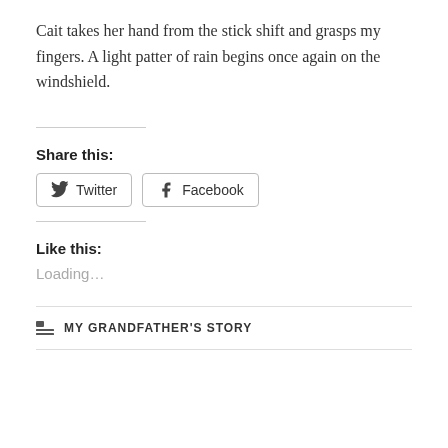Cait takes her hand from the stick shift and grasps my fingers. A light patter of rain begins once again on the windshield.
Share this:
Twitter  Facebook
Like this:
Loading...
MY GRANDFATHER'S STORY